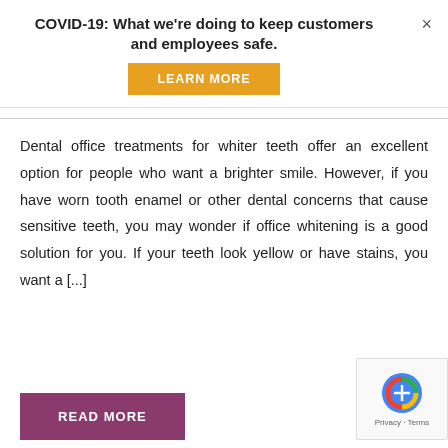COVID-19: What we're doing to keep customers and employees safe.
LEARN MORE
Dental office treatments for whiter teeth offer an excellent option for people who want a brighter smile. However, if you have worn tooth enamel or other dental concerns that cause sensitive teeth, you may wonder if office whitening is a good solution for you. If your teeth look yellow or have stains, you want a [...]
READ MORE